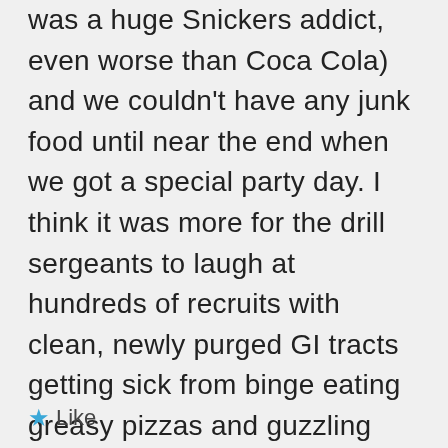was a huge Snickers addict, even worse than Coca Cola) and we couldn't have any junk food until near the end when we got a special party day. I think it was more for the drill sergeants to laugh at hundreds of recruits with clean, newly purged GI tracts getting sick from binge eating greasy pizzas and guzzling gallons of soda. I think that rules have changed a lot since “the old days” and they probably allow soda now. The newbies just don’t know how rough it really was!
★ Like